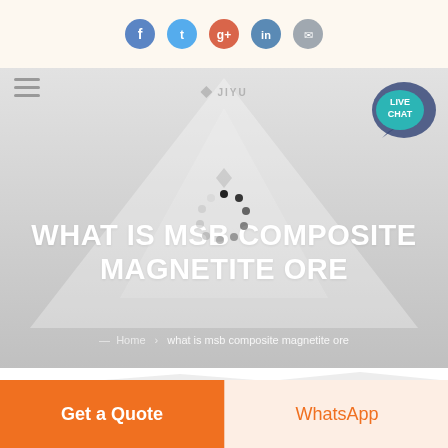[Figure (screenshot): Social media share icons row: Facebook (blue), Twitter (light blue), Google+ (orange-red), LinkedIn (steel blue), Email (gray) — circular icons on cream background]
[Figure (screenshot): Website hero banner with mountain/volcano silhouette background image, hamburger menu icon top-left, company logo top-center, Live Chat speech bubble top-right, large white bold uppercase title 'WHAT IS MSB COMPOSITE MAGNETITE ORE', loading spinner overlay, breadcrumb navigation at bottom]
WHAT IS MSB COMPOSITE MAGNETITE ORE
what is msb composite magnetite ore
[Figure (screenshot): White content area below hero with faint product/mountain silhouettes partially visible]
Get a Quote
WhatsApp